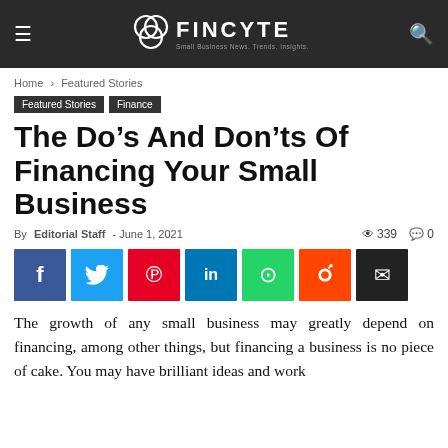FINCYTE – Small Business News. Trends. Insights.
Home › Featured Stories
Featured Stories  Finance
The Do's And Don'ts Of Financing Your Small Business
By Editorial Staff - June 1, 2021  339  0
[Figure (infographic): Social media share buttons: Facebook, Twitter, Pinterest, LinkedIn, WhatsApp, Reddit, Email]
The growth of any small business may greatly depend on financing, among other things, but financing a business is no piece of cake. You may have brilliant ideas and work